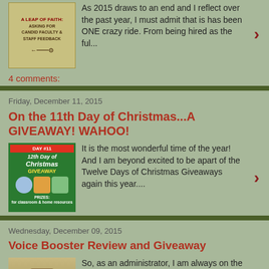[Figure (illustration): Thumbnail image for blog post about asking for candid faculty and staff feedback, olive/tan colored graphic with text overlay]
As 2015 draws to an end and I reflect over the past year, I must admit that is has been ONE crazy ride. From being hired as the ful...
4 comments:
Friday, December 11, 2015
On the 11th Day of Christmas...A GIVEAWAY! WAHOO!
[Figure (illustration): Christmas giveaway thumbnail - green background with Day 11 Christmas Giveaway text and prize photos]
It is the most wonderful time of the year! And I am beyond excited to be apart of the Twelve Days of Christmas Giveaways again this year....
Wednesday, December 09, 2015
Voice Booster Review and Giveaway
[Figure (photo): Photo of a person, likely a teacher/administrator, partial view at bottom of page]
So, as an administrator, I am always on the lookout for resources and products that I feel will